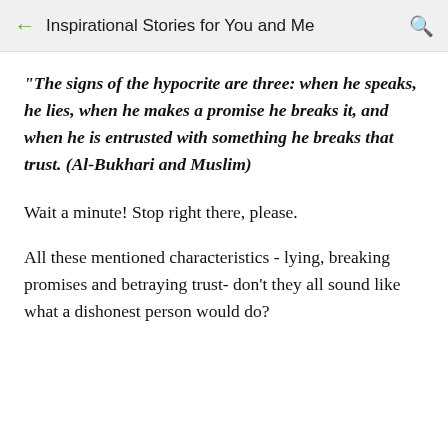Inspirational Stories for You and Me
"The signs of the hypocrite are three: when he speaks, he lies, when he makes a promise he breaks it, and when he is entrusted with something he breaks that trust. (Al-Bukhari and Muslim)
Wait a minute! Stop right there, please.
All these mentioned characteristics - lying, breaking promises and betraying trust- don't they all sound like what a dishonest person would do?